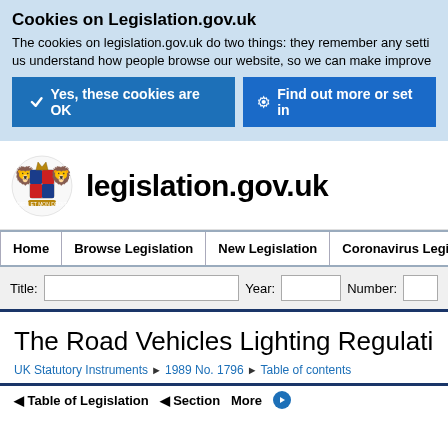Cookies on Legislation.gov.uk
The cookies on legislation.gov.uk do two things: they remember any setti us understand how people browse our website, so we can make improve
✓  Yes, these cookies are OK
⚙  Find out more or set in
[Figure (logo): UK Government Royal Coat of Arms crest logo next to text legislation.gov.uk]
legislation.gov.uk
Home  Browse Legislation  New Legislation  Coronavirus Legislatio
Title:   Year:   Number:
The Road Vehicles Lighting Regulations 1
UK Statutory Instruments ▶  1989 No. 1796 ▶  Table of contents
◄ Table of Legislation  ◄ Section  More  ▶